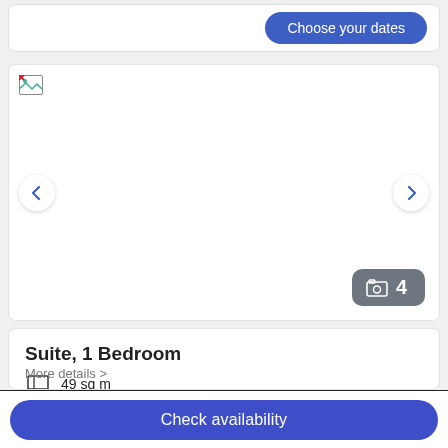[Figure (screenshot): Hotel booking UI with 'Choose your dates' button at top]
[Figure (screenshot): Room image carousel with navigation arrows and photo count badge showing 4 photos]
Suite, 1 Bedroom
49 sq m
Sleeps 2
1 Double Bed OR 2 Twin Beds
More details >
Check availability